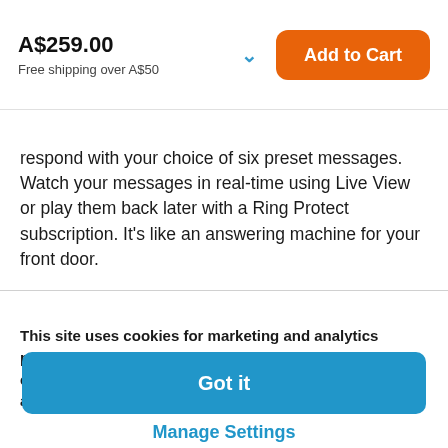A$259.00
Free shipping over A$50
Add to Cart
respond with your choice of six preset messages. Watch your messages in real-time using Live View or play them back later with a Ring Protect subscription. It's like an answering machine for your front door.
This site uses cookies for marketing and analytics pursuant to our Privacy Notice. We also use essential cookies. By continuing to browse this site, you acknowledge the placement of such cookies.
Got it
Manage Settings